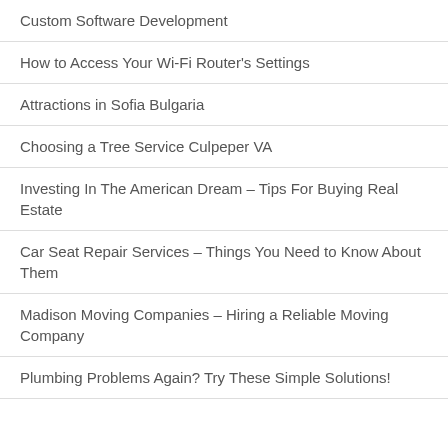Custom Software Development
How to Access Your Wi-Fi Router's Settings
Attractions in Sofia Bulgaria
Choosing a Tree Service Culpeper VA
Investing In The American Dream – Tips For Buying Real Estate
Car Seat Repair Services – Things You Need to Know About Them
Madison Moving Companies – Hiring a Reliable Moving Company
Plumbing Problems Again? Try These Simple Solutions!